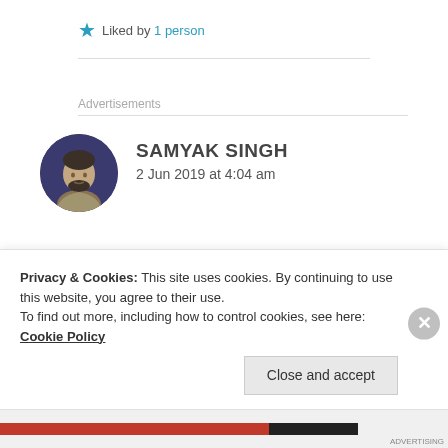Liked by 1 person
Advertisements
SAMYAK SINGH
2 Jun 2019 at 4:04 am
Privacy & Cookies: This site uses cookies. By continuing to use this website, you agree to their use.
To find out more, including how to control cookies, see here: Cookie Policy
Close and accept